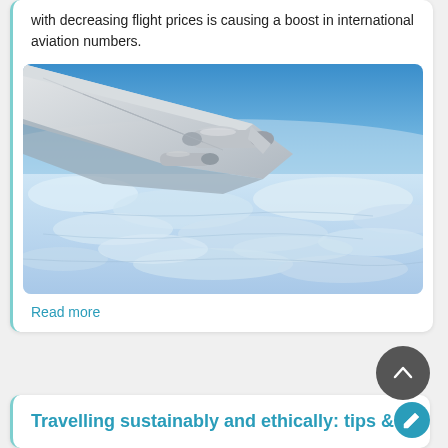with decreasing flight prices is causing a boost in international aviation numbers.
[Figure (photo): View from airplane window showing wing and engines above cloud cover and blue sky]
Read more
Travelling sustainably and ethically: tips &